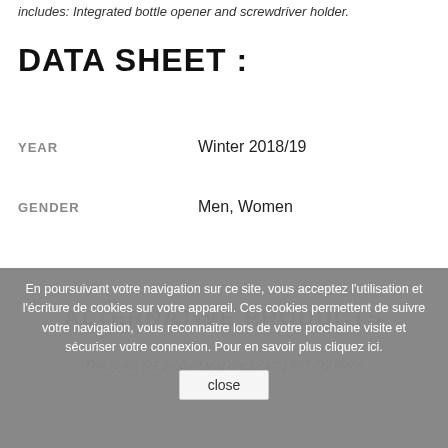includes: Integrated bottle opener and screwdriver holder.
DATA SHEET :
YEAR   Winter 2018/19
GENDER   Men, Women
ALTERNATIVE PRODUCTS
This is not the product you are looking for? Try these
En poursuivant votre navigation sur ce site, vous acceptez l'utilisation et l'écriture de cookies sur votre appareil. Ces cookies permettent de suivre votre navigation, vous reconnaitre lors de votre prochaine visite et sécuriser votre connexion. Pour en savoir plus cliquez ici.
close